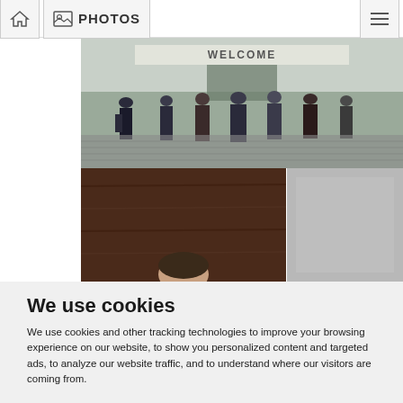PHOTOS
[Figure (photo): Conference attendees gathered outside a building entrance with a WELCOME sign, people standing and talking on a cobblestone area]
[Figure (photo): Close-up photo showing a person's head at the bottom, dark wooden background, with a grey panel on the right]
We use cookies
We use cookies and other tracking technologies to improve your browsing experience on our website, to show you personalized content and targeted ads, to analyze our website traffic, and to understand where our visitors are coming from.